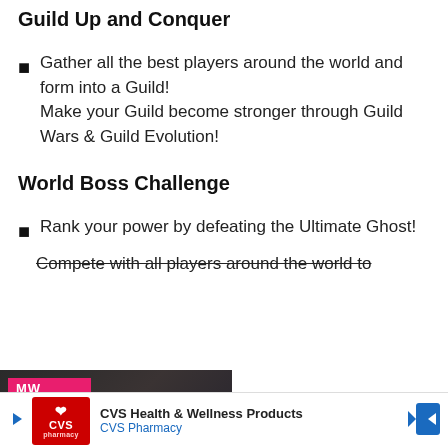Guild Up and Conquer
Gather all the best players around the world and form into a Guild!
Make your Guild become stronger through Guild Wars & Guild Evolution!
World Boss Challenge
Rank your power by defeating the Ultimate Ghost!
Compete with all players around the world to
[Figure (screenshot): Video player overlay showing 'BEST RETRO SWITCH GAMES' with MW (Men's Warehouse?) logo in pink/magenta, a play button, and dark fantasy game artwork]
ave for Fantasy League Turn-
de 2021,
Also, P
[Figure (screenshot): Banner advertisement for CVS Health & Wellness Products / CVS Pharmacy with CVS logo and navigation arrows]